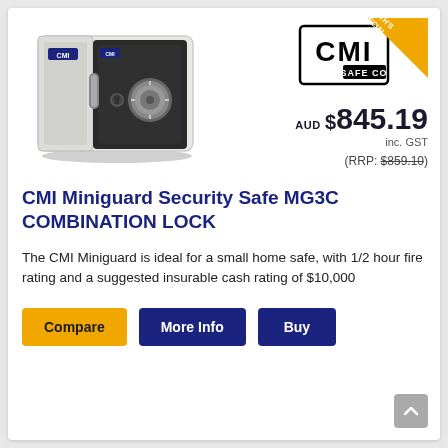[Figure (photo): Photo of CMI Miniguard Security Safe MG3C with combination lock dial, light grey color, door partially open]
[Figure (logo): CMI Safe Co logo in black and white with orange 'THIS MONTH'S SPECIAL' banner in top right corner]
AUD $845.19
inc. GST
(RRP: $859.10)
CMI Miniguard Security Safe MG3C COMBINATION LOCK
The CMI Miniguard is ideal for a small home safe, with 1/2 hour fire rating and a suggested insurable cash rating of $10,000
Compare
More Info
Buy